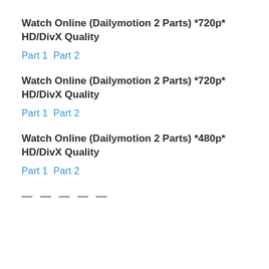Watch Online (Dailymotion 2 Parts) *720p* HD/DivX Quality
Part 1  Part 2
Watch Online (Dailymotion 2 Parts) *720p* HD/DivX Quality
Part 1  Part 2
Watch Online (Dailymotion 2 Parts) *480p* HD/DivX Quality
Part 1  Part 2
— — — — —